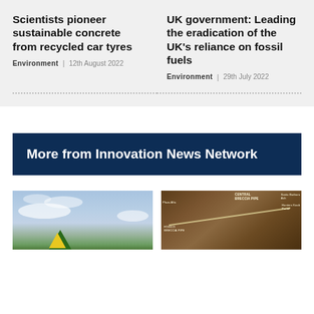Scientists pioneer sustainable concrete from recycled car tyres
Environment | 12th August 2022
UK government: Leading the eradication of the UK’s reliance on fossil fuels
Environment | 29th July 2022
More from Innovation News Network
[Figure (photo): Sky with clouds and green landscape with a yellow structure at the bottom]
[Figure (map): Aerial/satellite-style map showing geological features including Central Breccia Pipe, Foisco Breccia Pipe, Plaza Alta, Santa Barbara Ash, Hunters Knob Portal labels]